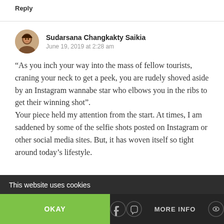Reply
Sudarsana Changkakty Saikia
June 19, 2019 at 2:28 am
“As you inch your way into the mass of fellow tourists, craning your neck to get a peek, you are rudely shoved aside by an Instagram wannabe star who elbows you in the ribs to get their winning shot”.
Your piece held my attention from the start. At times, I am saddened by some of the selfie shots posted on Instagram or other social media sites. But, it has woven itself so tight around today’s lifestyle.
This website uses cookies
OKAY
MORE INFO